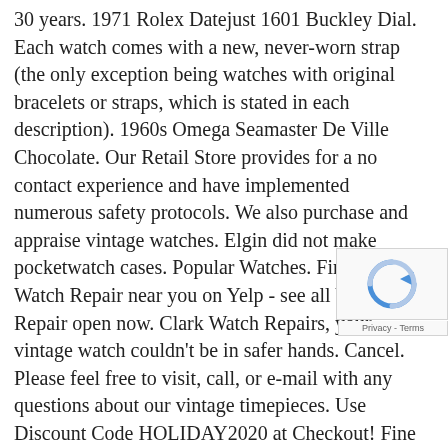30 years. 1971 Rolex Datejust 1601 Buckley Dial. Each watch comes with a new, never-worn strap (the only exception being watches with original bracelets or straps, which is stated in each description). 1960s Omega Seamaster De Ville Chocolate. Our Retail Store provides for a no contact experience and have implemented numerous safety protocols. We also purchase and appraise vintage watches. Elgin did not make pocketwatch cases. Popular Watches. Find the best Watch Repair near you on Yelp - see all Watch Repair open now. Clark Watch Repairs, your vintage watch couldn't be in safer hands. Cancel. Please feel free to visit, call, or e-mail with any questions about our vintage timepieces. Use Discount Code HOLIDAY2020 at Checkout! Fine Pre-owned Benrus Watch. Tim is an experienced watchmaker specializing in vintage Omega watch service and vintage watch sales. Circa 1930s. To that end, we guarantee that every watch on our site is genuine and authentic. By using our services to sell vintage watches online, you automatically attract interested, pre-selected international vintage watch buyers to your auction. Your vintage watch is insured for up to £20,000 throughout its postal journey, from the moment the package leaves your hand to when it is posted back to you. Ref T243449. Fine Pre-owned Leobe Watch. Condition: Most vintage watches are heirlooms to be ador others are in such mint condition that you can afford to we The original silver quadrant dial with applied pink gold m pristine. … Each vintage watch comes with a NEW never worn strap (only exception is if the watch already includes a brac...
[Figure (other): reCAPTCHA verification box with circular arrow icon and Privacy - Terms footer]